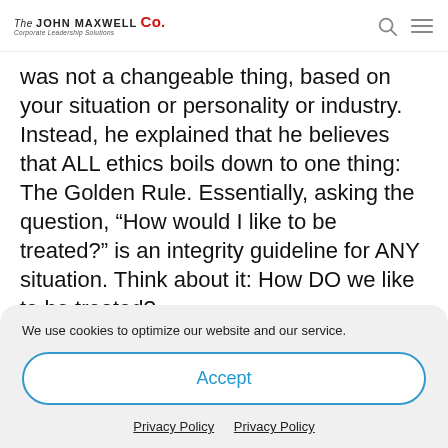The John Maxwell Co. Corporate Leadership Solutions
was not a changeable thing, based on your situation or personality or industry. Instead, he explained that he believes that ALL ethics boils down to one thing: The Golden Rule. Essentially, asking the question, “How would I like to be treated?” is an integrity guideline for ANY situation. Think about it: How DO we like to be treated?
We use cookies to optimize our website and our service.
Accept
Privacy Policy  Privacy Policy